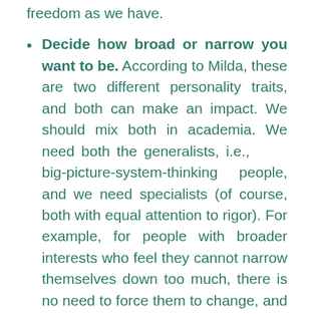freedom as we have.
Decide how broad or narrow you want to be. According to Milda, these are two different personality traits, and both can make an impact. We should mix both in academia. We need both the generalists, i.e., big-picture-system-thinking people, and we need specialists (of course, both with equal attention to rigor). For example, for people with broader interests who feel they cannot narrow themselves down too much, there is no need to force them to change, and as she said, "we need to make space